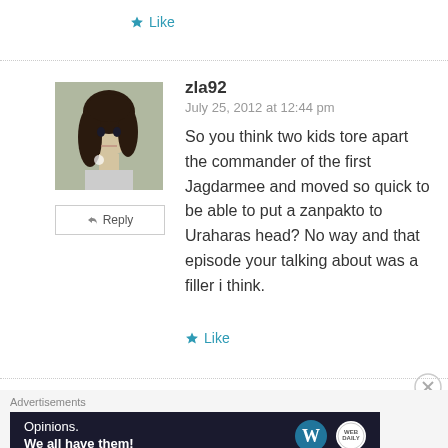Like
zla92
July 25, 2012 at 12:44 pm
So you think two kids tore apart the commander of the first Jagdarmee and moved so quick to be able to put a zanpakto to Uraharas head? No way and that episode your talking about was a filler i think.
Like
Advertisements
Opinions. We all have them!